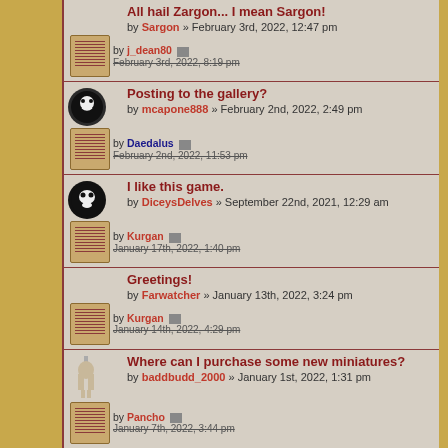All hail Zargon... I mean Sargon! by Sargon » February 3rd, 2022, 12:47 pm | by j_dean80 | February 3rd, 2022, 8:19 pm
Posting to the gallery? by mcapone888 » February 2nd, 2022, 2:49 pm | by Daedalus | February 2nd, 2022, 11:53 pm
I like this game. by DiceysDelves » September 22nd, 2021, 12:29 am | by Kurgan | January 17th, 2022, 1:40 pm
Greetings! by Farwatcher » January 13th, 2022, 3:24 pm | by Kurgan | January 14th, 2022, 4:29 pm
Where can I purchase some new miniatures? by baddbudd_2000 » January 1st, 2022, 1:31 pm | by Pancho | January 7th, 2022, 3:44 pm
Hi form Hungary by Drakk » December 27th, 2021, 7:47 am | by Kurgan | December 27th, 2021, 5:47 pm